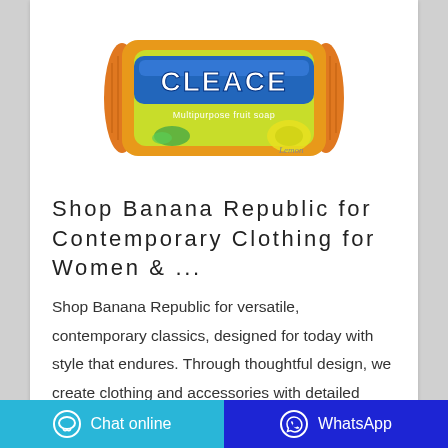[Figure (photo): Cleace Multipurpose fruit soap bar in orange and yellow packaging with lemon imagery]
Shop Banana Republic for Contemporary Clothing for Women & ...
Shop Banana Republic for versatile, contemporary classics, designed for today with style that endures. Through thoughtful design, we create clothing and accessories with detailed craftsmanship in luxurious materials.
Chat online | WhatsApp